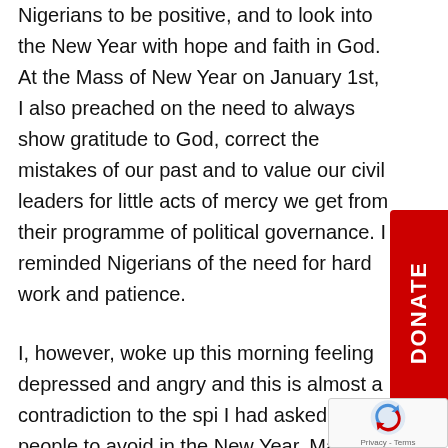Nigerians to be positive, and to look into the New Year with hope and faith in God. At the Mass of New Year on January 1st, I also preached on the need to always show gratitude to God, correct the mistakes of our past and to value our civil leaders for little acts of mercy we get from their programme of political governance. I reminded Nigerians of the need for hard work and patience.

I, however, woke up this morning feeling depressed and angry and this is almost a contradiction to the spi... I had asked people to avoid in the New Year. Many questions propped up in my mind as to our safety in our country; if enough is being done to protect us; how long the hunger I see written on the faces of many widows and children/youths will last? What of the